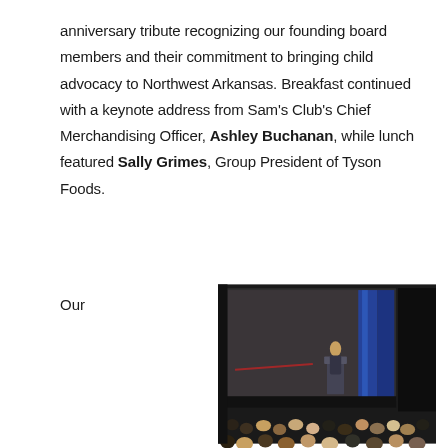anniversary tribute recognizing our founding board members and their commitment to bringing child advocacy to Northwest Arkansas. Breakfast continued with a keynote address from Sam's Club's Chief Merchandising Officer, Ashley Buchanan, while lunch featured Sally Grimes, Group President of Tyson Foods.
Our
[Figure (photo): A speaker on stage at a podium in front of a large projection screen, with an audience seated in a darkened room. Blue lighting on stage curtains.]